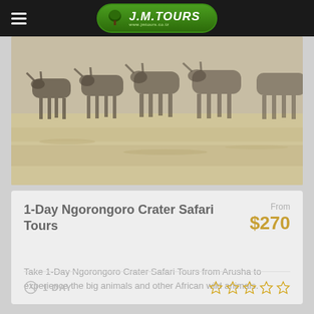J.M.TOURS — www.jmtours.co.tz
[Figure (photo): Safari photo showing a herd of wildebeest or buffalo grazing on a dry savanna plain, muted sepia tones.]
1-Day Ngorongoro Crater Safari Tours
From $270
Take 1-Day Ngorongoro Crater Safari Tours from Arusha to experience the big animals and other African wild animals.
1 DAY